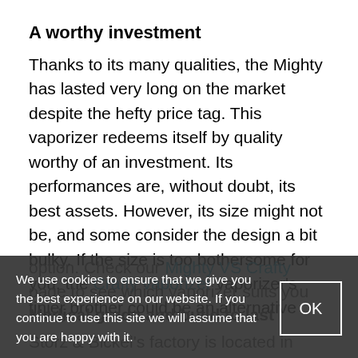A worthy investment
Thanks to its many qualities, the Mighty has lasted very long on the market despite the hefty price tag. This vaporizer redeems itself by quality worthy of an investment. Its performances are, without doubt, its best assets. However, its size might not be, and some consider the design a bit bulky. If the size is too bothersome for you, the Crafty vaporizer vaporizer's tinier brother could be an alternative option. Check our Mighty VS Crafty page to see which vaporizer suits you better.
Medical grade and build to last
Storz & Bickel's factory is located in Tuttlingen in
We use cookies to ensure that we give you the best experience on our website. If you continue to use this site we will assume that you are happy with it.